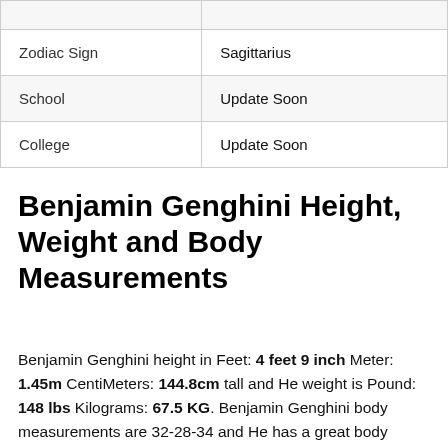| Zodiac Sign | Sagittarius |
| School | Update Soon |
| College | Update Soon |
Benjamin Genghini Height, Weight and Body Measurements
Benjamin Genghini height in Feet: 4 feet 9 inch Meter: 1.45m CentiMeters: 144.8cm tall and He weight is Pound: 148 lbs Kilograms: 67.5 KG. Benjamin Genghini body measurements are 32-28-34 and He has a great body shape.